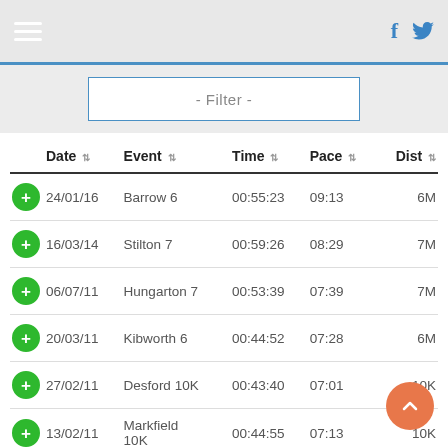[Figure (screenshot): Mobile app navigation bar with hamburger menu icon on left and Facebook and Twitter social icons on right, on grey background]
|  | Date | Event | Time | Pace | Dist |
| --- | --- | --- | --- | --- | --- |
| + | 24/01/16 | Barrow 6 | 00:55:23 | 09:13 | 6M |
| + | 16/03/14 | Stilton 7 | 00:59:26 | 08:29 | 7M |
| + | 06/07/11 | Hungarton 7 | 00:53:39 | 07:39 | 7M |
| + | 20/03/11 | Kibworth 6 | 00:44:52 | 07:28 | 6M |
| + | 27/02/11 | Desford 10K | 00:43:40 | 07:01 | 10K |
| + | 13/02/11 | Markfield 10K | 00:44:55 | 07:13 | 10K |